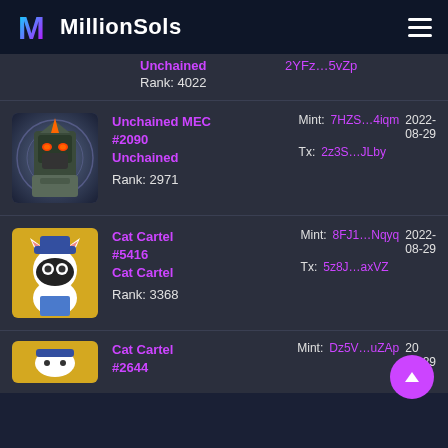MillionSols
Unchained  2YFz…5vZp  Rank: 4022
[Figure (photo): NFT artwork of an armored robot/mech warrior with orange accents on dark background]
Unchained MEC #2090 Unchained  Rank: 2971  Mint: 7HZS…4iqm  Tx: 2z3S…JLby  2022-08-29
[Figure (photo): NFT artwork of a cartoon cat burglar wearing a blue hat and overalls on yellow background]
Cat Cartel #5416 Cat Cartel  Rank: 3368  Mint: 8FJ1…Nqyq  Tx: 5z8J…axVZ  2022-08-29
Cat Cartel #2644  Mint: Dz5V…uZAp  20-08-29